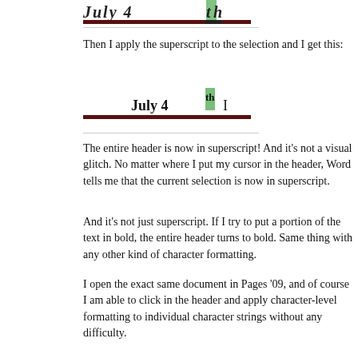[Figure (screenshot): Word header screenshot showing italic text with green cursor highlight and dark underline bar at top of page]
Then I apply the superscript to the selection and I get this:
[Figure (screenshot): Word header showing 'July 4th' in bold with green cursor highlight, text cursor (I-beam) icon, and dark underline bar]
The entire header is now in superscript! And it's not a visual glitch. No matter where I put my cursor in the header, Word tells me that the current selection is now in superscript.
And it's not just superscript. If I try to put a portion of the text in bold, the entire header turns to bold. Same thing with any other kind of character formatting.
I open the exact same document in Pages '09, and of course I am able to click in the header and apply character-level formatting to individual characters or strings of characters without any difficulty.
Out of curiosity, I switch to a different OS X environment with no customizations (in Microsoft Word itself or anywhere else in the OS) and open the same document in Word. Same problem.